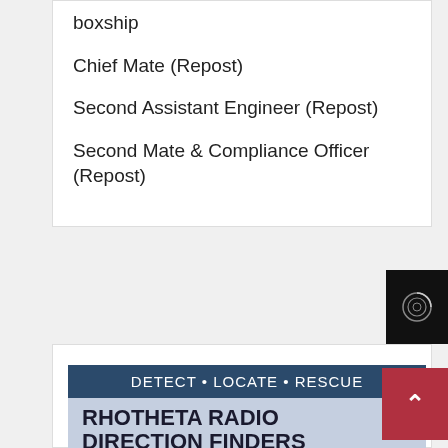boxship
Chief Mate (Repost)
Second Assistant Engineer (Repost)
Second Mate & Compliance Officer (Repost)
[Figure (infographic): Rhotheta Radio Direction Finders advertisement with dark blue header reading DETECT • LOCATE • RESCUE, light blue body with bold title RHOTHETA RADIO DIRECTION FINDERS, subtitle AN ESSENTIAL TOOL FOR YOUR MISSION, and bullet points: Doppler RDFs for SAR, MOB & Recovery; Advanced Connectivity for GPS, COMPASS, ECDIS; RT 500-M, AM/FM 118 – 470 MHz]